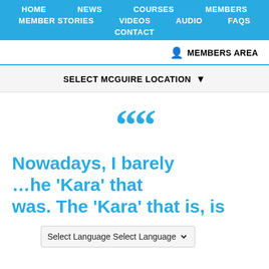HOME  NEWS  COURSES  MEMBERS  MEMBER STORIES  VIDEOS  AUDIO  FAQS  CONTACT
MEMBERS AREA
SELECT MCGUIRE LOCATION ▾
[Figure (illustration): Large cyan opening double quotation mark symbol]
Nowadays, I barely ...he 'Kara' that was. The 'Kara' that is, is